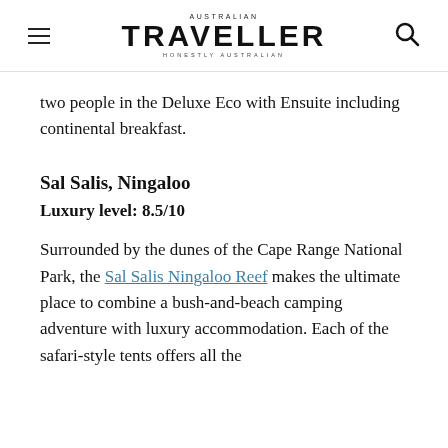AUSTRALIAN TRAVELLER HONESTLY AUSTRALIAN
two people in the Deluxe Eco with Ensuite including continental breakfast.
Sal Salis, Ningaloo
Luxury level: 8.5/10
Surrounded by the dunes of the Cape Range National Park, the Sal Salis Ningaloo Reef makes the ultimate place to combine a bush-and-beach camping adventure with luxury accommodation. Each of the safari-style tents offers all the